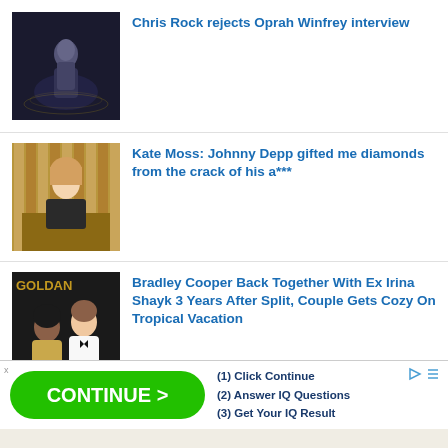Chris Rock rejects Oprah Winfrey interview
Kate Moss: Johnny Depp gifted me diamonds from the crack of his a***
Bradley Cooper Back Together With Ex Irina Shayk 3 Years After Split, Couple Gets Cozy On Tropical Vacation
[Figure (infographic): Advertisement banner with green CONTINUE > button and IQ quiz steps]